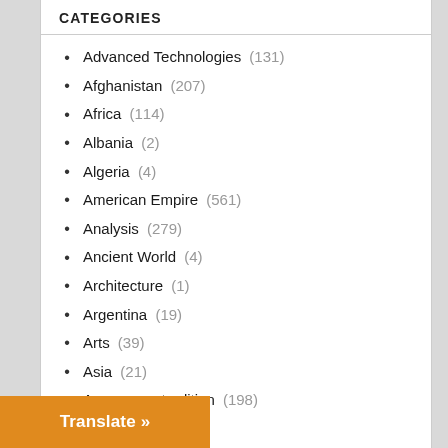CATEGORIES
Advanced Technologies (131)
Afghanistan (207)
Africa (114)
Albania (2)
Algeria (4)
American Empire (561)
Analysis (279)
Ancient World (4)
Architecture (1)
Argentina (19)
Arts (39)
Asia (21)
Assange extradition (198)
Australia (93)
Bahrain (6)
Bahrain (7)
(2)